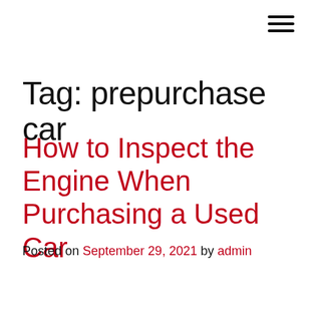[Figure (other): Hamburger menu icon (three horizontal black lines) in top-right corner]
Tag: prepurchase car
How to Inspect the Engine When Purchasing a Used Car
Posted on September 29, 2021 by admin